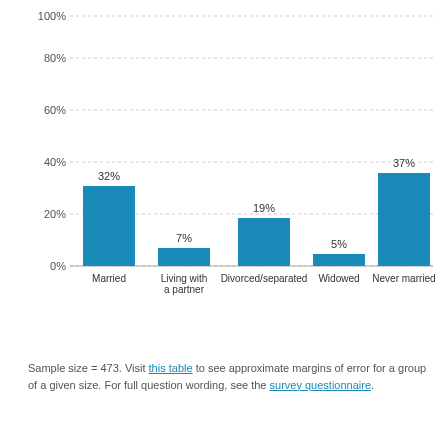[Figure (bar-chart): ]
Sample size = 473. Visit this table to see approximate margins of error for a group of a given size. For full question wording, see the survey questionnaire.